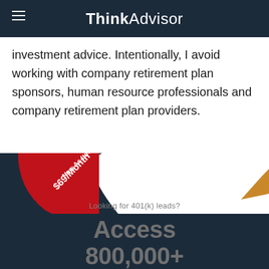ThinkAdvisor
investment advice. Intentionally, I avoid working with company retirement plan sponsors, human resource professionals and company retirement plan providers.
[Figure (infographic): Advertisement banner with red diagonal corner badge reading 'Now As Low As $69/Month' and gold accent arc on dark navy background. Below: text 'Looking for 401(k) leads?' and large text 'Access 800,000+']